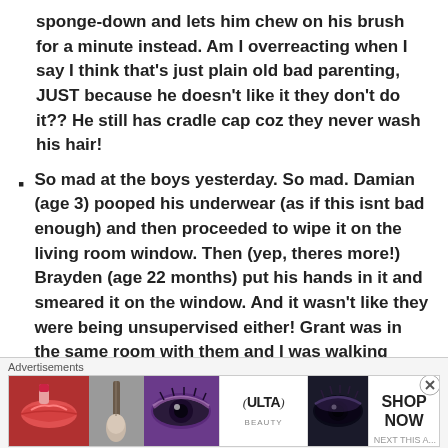sponge-down and lets him chew on his brush for a minute instead. Am I overreacting when I say I think that’s just plain old bad parenting, JUST because he doesn’t like it they don’t do it?? He still has cradle cap coz they never wash his hair!
So mad at the boys yesterday. So mad. Damian (age 3) pooped his underwear (as if this isnt bad enough) and then proceeded to wipe it on the living room window. Then (yep, theres more!) Brayden (age 22 months) put his hands in it and smeared it on the window. And it wasn’t like they were being unsupervised either! Grant was in the same room with them and I was walking back and forth doing
Advertisements
[Figure (other): Ulta Beauty advertisement banner showing makeup-related images (lips with lipstick, makeup brush, eye with makeup), Ulta Beauty logo in center, eye with dramatic makeup, and SHOP NOW text on white background.]